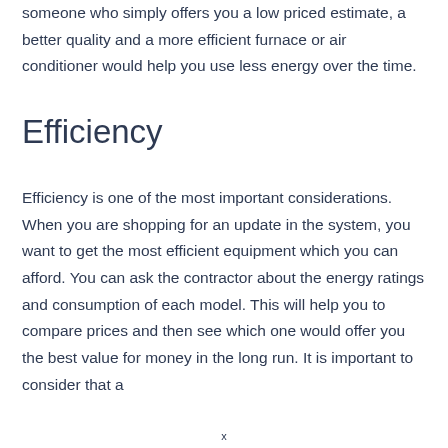someone who simply offers you a low priced estimate, a better quality and a more efficient furnace or air conditioner would help you use less energy over the time.
Efficiency
Efficiency is one of the most important considerations. When you are shopping for an update in the system, you want to get the most efficient equipment which you can afford. You can ask the contractor about the energy ratings and consumption of each model. This will help you to compare prices and then see which one would offer you the best value for money in the long run. It is important to consider that a
x